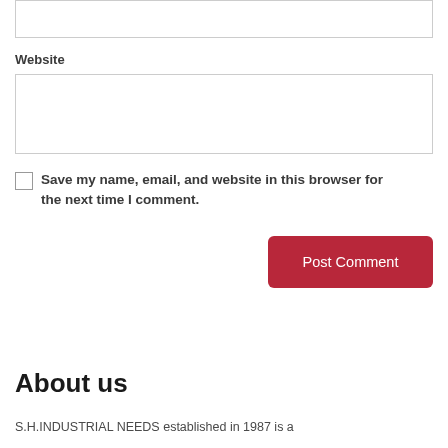Website
Save my name, email, and website in this browser for the next time I comment.
Post Comment
About us
S.H.INDUSTRIAL NEEDS established in 1987 is a